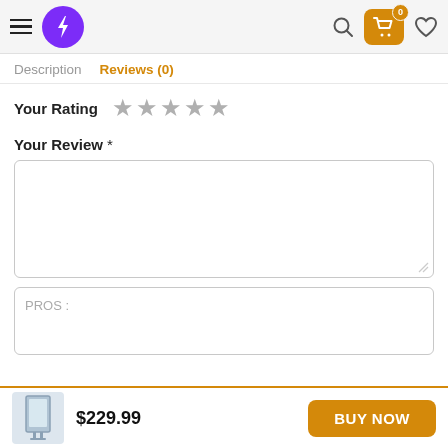Navigation header with hamburger menu, purple lightning bolt logo, search icon, cart (0), and heart icon
Description   Reviews (0)
Your Rating ★★★★★
Your Review *
[Review textarea]
PROS:
$229.99   BUY NOW